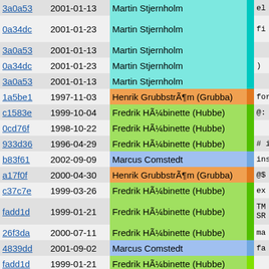| Hash | Date | Author | Bar | Code |
| --- | --- | --- | --- | --- |
| 3a0a53 | 2001-01-13 | Martin Stjernholm |  | el |
| 0a34dc | 2001-01-23 | Martin Stjernholm |  | fi |
| 3a0a53 | 2001-01-13 | Martin Stjernholm |  |  |
| 0a34dc | 2001-01-23 | Martin Stjernholm |  | ) |
| 3a0a53 | 2001-01-13 | Martin Stjernholm |  |  |
| 1a5be1 | 1997-11-03 | Henrik GrubbstrÃ¶m (Grubba) |  | force : |
| c1583e | 1999-10-04 | Fredrik HÃ¼binette (Hubbe) |  | @: |
| 0cd76f | 1998-10-22 | Fredrik HÃ¼binette (Hubbe) |  |  |
| 933d36 | 1996-04-29 | Fredrik HÃ¼binette (Hubbe) |  | # install |
| b83f61 | 2002-09-09 | Marcus Comstedt |  | install: p |
| a17f0f | 2000-04-30 | Henrik GrubbstrÃ¶m (Grubba) |  | @$ |
| c37c7e | 1999-03-26 | Fredrik HÃ¼binette (Hubbe) |  | ex |
| fadd1d | 1999-01-21 | Fredrik HÃ¼binette (Hubbe) |  | TM SR |
| 26f3da | 2000-07-11 | Fredrik HÃ¼binette (Hubbe) |  | ma |
| 4839dd | 2001-09-02 | Marcus Comstedt |  | fa |
| fadd1d | 1999-01-21 | Fredrik HÃ¼binette (Hubbe) |  |  |